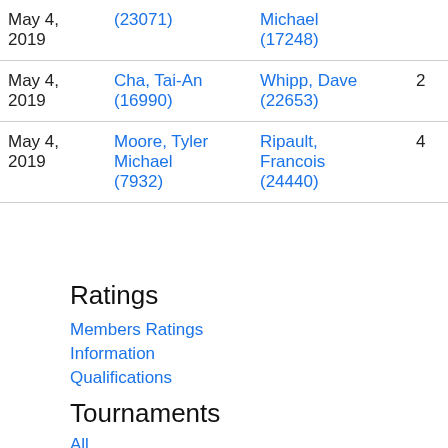| Date | Player 1 | Player 2 | Col4 | Col5 |
| --- | --- | --- | --- | --- |
| May 4, 2019 | (23071) | Michael (17248) |  |  |
| May 4, 2019 | Cha, Tai-An (16990) | Whipp, Dave (22653) | 2 | 0 |
| May 4, 2019 | Moore, Tyler Michael (7932) | Ripault, Francois (24440) | 4 | 0 |
Ratings
Members Ratings
Information
Qualifications
Tournaments
All